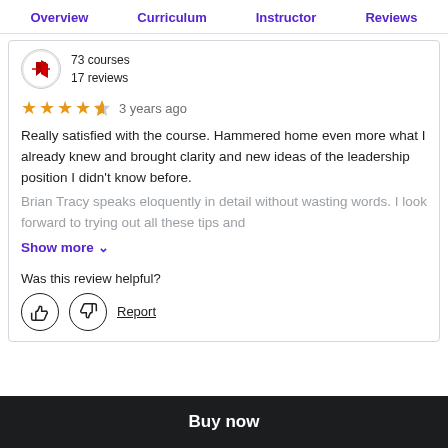Overview  Curriculum  Instructor  Reviews
73 courses
17 reviews
★★★★½  3 years ago
Really satisfied with the course. Hammered home even more what I already knew and brought clarity and new ideas of the leadership position I didn't know before. Brian Tracy speaks eloquently in detail without wasting words. I look forward to trying out all these tips and
Show more ∨
Was this review helpful?
Report
Buy now